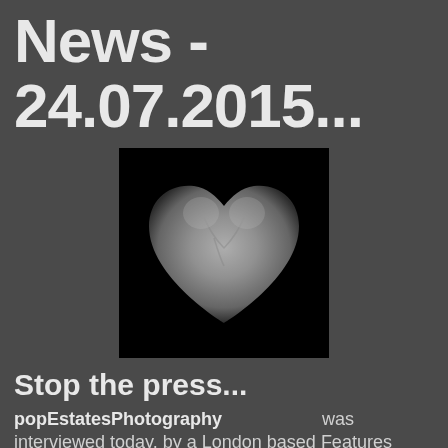News - 24.07.2015...
[Figure (photo): Black and white photograph of a heart-shaped stone or object on a black background]
Stop the press...
popEstatesPhotography was interviewed today, by a London based Features Editor...